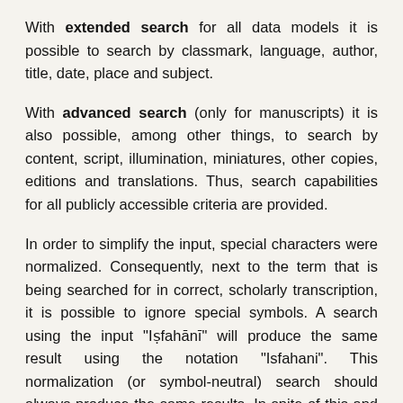With extended search for all data models it is possible to search by classmark, language, author, title, date, place and subject.
With advanced search (only for manuscripts) it is also possible, among other things, to search by content, script, illumination, miniatures, other copies, editions and translations. Thus, search capabilities for all publicly accessible criteria are provided.
In order to simplify the input, special characters were normalized. Consequently, next to the term that is being searched for in correct, scholarly transcription, it is possible to ignore special symbols. A search using the input "Iṣfahānī" will produce the same result using the notation "Isfahani". This normalization (or symbol-neutral) search should always produce the same results. In spite of this and in order to simplify the input possibilities of the correct, scholarly transcription for